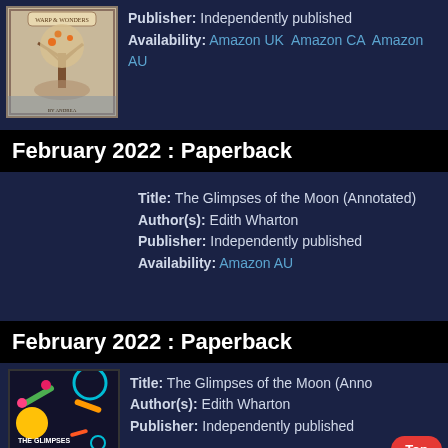[Figure (illustration): Book cover with tree/nature illustration on beige background]
Publisher: Independently published
Availability: Amazon UK  Amazon CA  Amazon AU
February 2022 : Paperback
Title: The Glimpses of the Moon (Annotated)
Author(s): Edith Wharton
Publisher: Independently published
Availability: Amazon AU
February 2022 : Paperback
[Figure (illustration): Colorful book cover with geometric shapes and 'The Glimpses of the Moon' text]
Title: The Glimpses of the Moon (Annotated)
Author(s): Edith Wharton
Publisher: Independently published